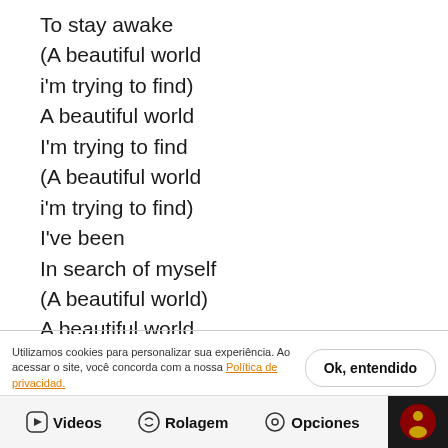To stay awake
(A beautiful world
i'm trying to find)
A beautiful world
I'm trying to find
(A beautiful world
i'm trying to find)
I've been
In search of myself
(A beautiful world)
A beautiful world
It's just
Too hard for me to find
(Dreams, dreams)
Utilizamos cookies para personalizar sua experiência. Ao acessar o site, você concorda com a nossa Política de privacidad.
Ok, entendido
I am in the search
Of something
Videos   Rolagem   Opciones